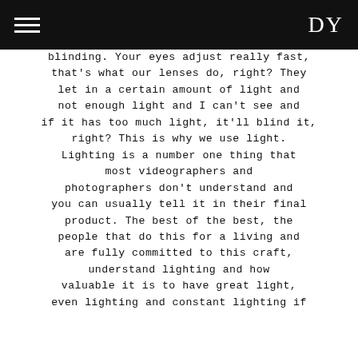DY
blinding. Your eyes adjust really fast, that's what our lenses do, right? They let in a certain amount of light and not enough light and I can't see and if it has too much light, it'll blind it, right? This is why we use light. Lighting is a number one thing that most videographers and photographers don't understand and you can usually tell it in their final product. The best of the best, the people that do this for a living and are fully committed to this craft, understand lighting and how valuable it is to have great light, even lighting and constant lighting if